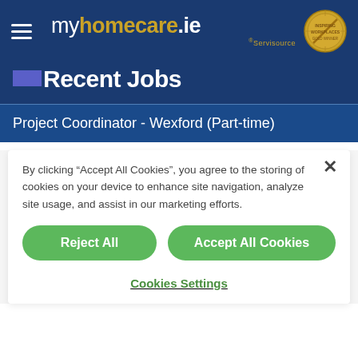[Figure (logo): myhomecare.ie by Servisource logo with hamburger menu icon and gold award badge on dark blue background]
Recent Jobs
Project Coordinator - Wexford (Part-time)
By clicking “Accept All Cookies”, you agree to the storing of cookies on your device to enhance site navigation, analyze site usage, and assist in our marketing efforts.
Reject All
Accept All Cookies
Cookies Settings